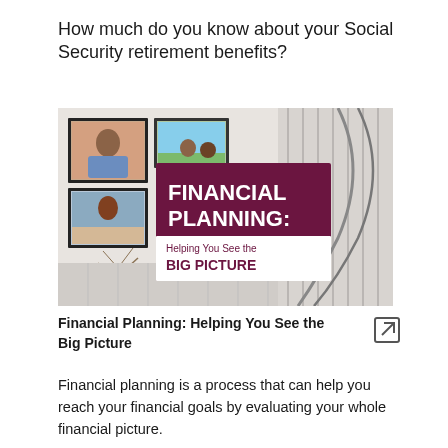How much do you know about your Social Security retirement benefits?
[Figure (illustration): Banner image for 'Financial Planning: Helping You See the Big Picture' showing a collage of family photos on the left, a dark maroon banner with white bold text 'FINANCIAL PLANNING: Helping You See the BIG PICTURE' in the center, and a spiral staircase on the right.]
Financial Planning: Helping You See the Big Picture
Financial planning is a process that can help you reach your financial goals by evaluating your whole financial picture.